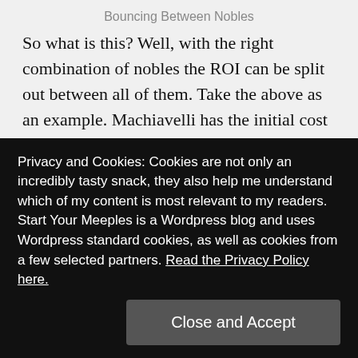Bouncing Between Nobles
So what is this? Well, with the right combination of nobles the ROI can be split out between all of them. Take the above as an example. Machiavelli has the initial cost attributed to him. This is, as discussed, a pitiful ROI of 0.108.
If Anne of Brittany is out though, she shares the need for Diamonds and Sapphires, like Machiavelli, and needing four of each for Machiavelli means you more than fill Anne of Brittany's need for them. All you need then is three Emeralds.
to gain Solomon the Magnificent all you will then need is one
Privacy and Cookies: Cookies are not only an incredibly tasty snack, they also help me understand which of my content is most relevant to my readers. Start Your Meeples is a Wordpress blog and uses Wordpress standard cookies, as well as cookies from a few selected partners. Read the Privacy Policy here.